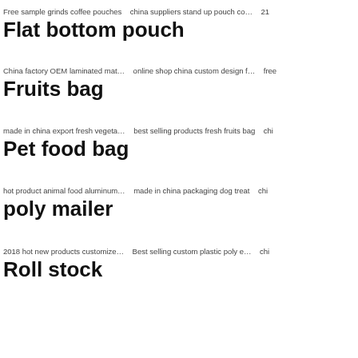Free sample grinds coffee pouches   china suppliers stand up pouch co…   21
Flat bottom pouch
China factory OEM laminated mat…   online shop china custom design f…   free
Fruits bag
made in china export fresh vegeta…   best selling products fresh fruits bag   chi
Pet food bag
hot product animal food aluminum…   made in china packaging dog treat   chi
poly mailer
2018 hot new products customize…   Best selling custom plastic poly e…   chi
Roll stock